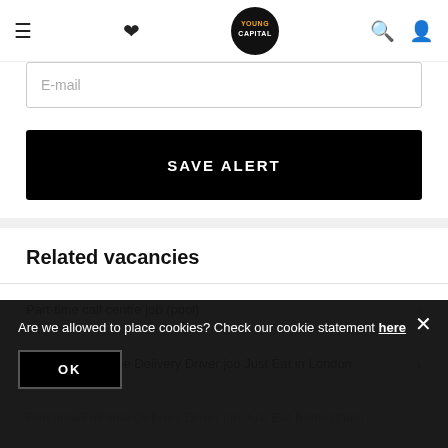YoungCapital navigation bar with menu, favourites, logo, search, and account icons
E-mail
SAVE ALERT
Related vacancies
Part-time call centre job (pool)
Part time/Full time Delivery Driver job Just Eat in London
Part time/Full time Delivery Driver job Just Eat Birmingham
Are we allowed to place cookies? Check our cookie statement here
OK